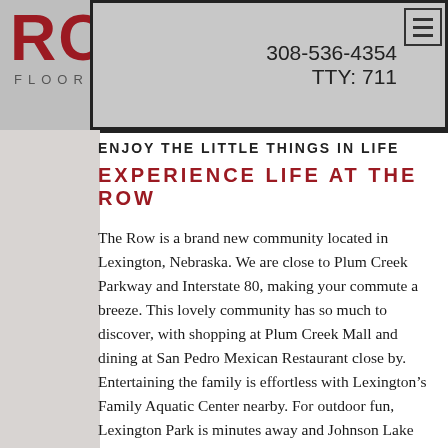[Figure (logo): The Row logo in bold red letters with subtitle 'FLOOR PLANS' and contact info 308-536-4354, TTY: 711, plus hamburger menu icon]
ENJOY THE LITTLE THINGS IN LIFE
EXPERIENCE LIFE AT THE ROW
The Row is a brand new community located in Lexington, Nebraska. We are close to Plum Creek Parkway and Interstate 80, making your commute a breeze. This lovely community has so much to discover, with shopping at Plum Creek Mall and dining at San Pedro Mexican Restaurant close by. Entertaining the family is effortless with Lexington’s Family Aquatic Center nearby. For outdoor fun, Lexington Park is minutes away and Johnson Lake State Recreation is just a short drive.